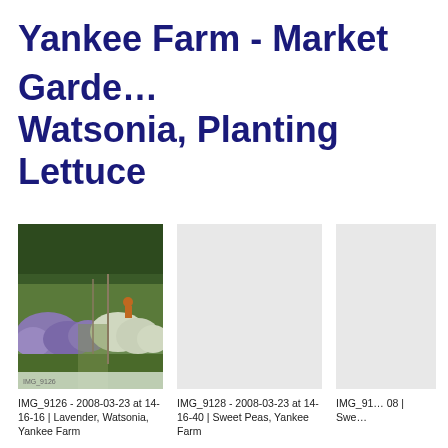Yankee Farm - Market Garde… Watsonia, Planting Lettuce
[Figure (photo): Outdoor farm/garden photo showing lavender and other plants with a person working in the background, trees in distance. Lavender, Watsonia, Yankee Farm. IMG_9126 - 2008-03-23 at 14-16-16]
IMG_9126 - 2008-03-23 at 14-16-16 | Lavender, Watsonia, Yankee Farm
[Figure (photo): Light gray placeholder image. Sweet Peas, Yankee Farm. IMG_9128 - 2008-03-23 at 14-16-40]
IMG_9128 - 2008-03-23 at 14-16-40 | Sweet Peas, Yankee Farm
[Figure (photo): Partially visible light gray placeholder image. IMG_91… 08 | Swe…]
IMG_91… 08 | Swe…